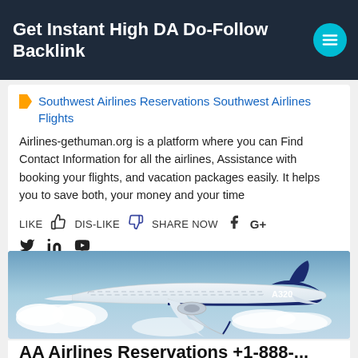Get Instant High DA Do-Follow Backlink
Southwest Airlines Reservations Southwest Airlines Flights
Airlines-gethuman.org is a platform where you can Find Contact Information for all the airlines, Assistance with booking your flights, and vacation packages easily. It helps you to save both, your money and your time
LIKE  DIS-LIKE  SHARE NOW
[Figure (photo): Airbus A320 airplane in flight above clouds with blue sky background]
AA Airlines Reservations +1-888-...